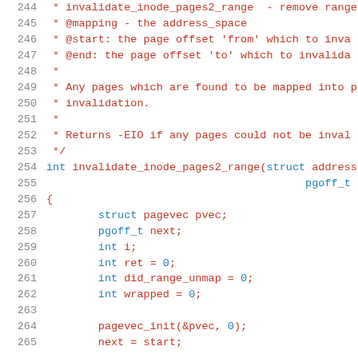Source code listing, lines 244-265, showing invalidate_inode_pages2_range function definition with comments and variable declarations.